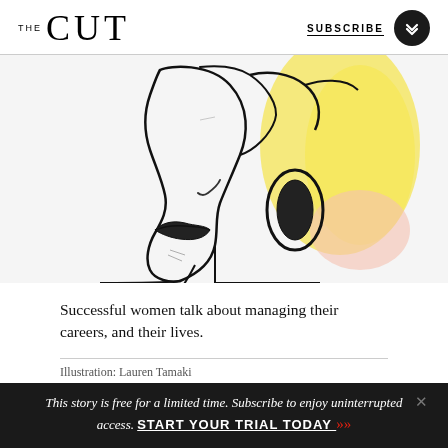THE CUT   SUBSCRIBE
[Figure (illustration): Line illustration of a woman's profile/side face with hoop earring and yellow and pink watercolor wash background, in black ink style]
Successful women talk about managing their careers, and their lives.
Illustration: Lauren Tamaki
This story is free for a limited time. Subscribe to enjoy uninterrupted access. START YOUR TRIAL TODAY »